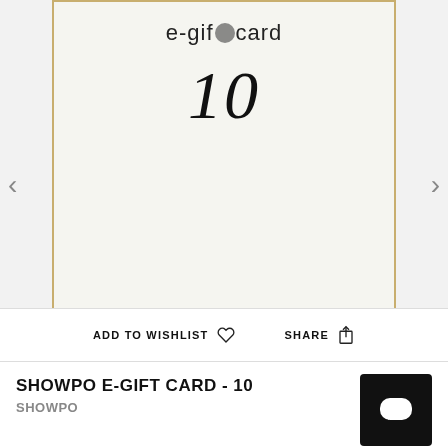[Figure (other): E-gift card product image showing a light grey card with a gold border, text 'e-gift card' at top and italic '10' below. Navigation arrows on left and right sides.]
ADD TO WISHLIST  ♡    SHARE  ⬆
SHOWPO E-GIFT CARD - 10
SHOWPO